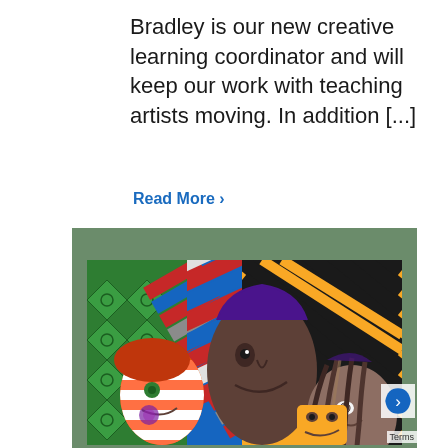Bradley is our new creative learning coordinator and will keep our work with teaching artists moving. In addition [...]
Read More ›
[Figure (illustration): Colorful stylized painting of three women with bold graphic patterns in the background including green diamond patterns, red and blue diagonal stripes, and yellow and black zigzag lines. The figures have exaggerated facial features in an illustrative folk-art style.]